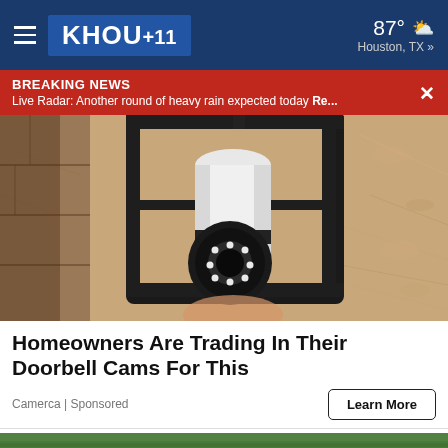KHOU 11  87° Houston, TX »
BREAKING NEWS
Live Radar: Another round of heavy rain expected today Re...
[Figure (photo): A light-bulb shaped security camera mounted inside an outdoor wall lantern fixture against a textured stucco wall. A hand is visible holding the camera device.]
Homeowners Are Trading In Their Doorbell Cams For This
Camerca | Sponsored
[Figure (photo): Partial view of a second article image at the bottom of the page, showing a green field/sports setting.]